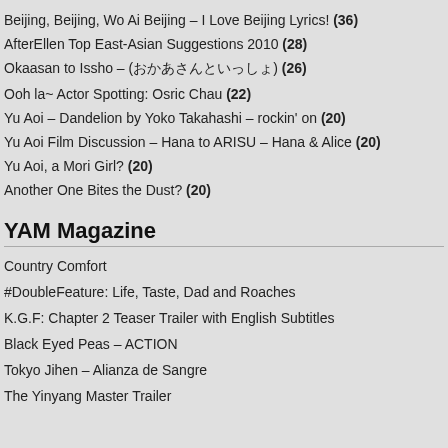Beijing, Beijing, Wo Ai Beijing – I Love Beijing Lyrics! (36)
AfterEllen Top East-Asian Suggestions 2010 (28)
Okaasan to Issho – (おかあさんといっしょ) (26)
Ooh la~ Actor Spotting: Osric Chau (22)
Yu Aoi – Dandelion by Yoko Takahashi – rockin' on (20)
Yu Aoi Film Discussion – Hana to ARISU – Hana & Alice (20)
Yu Aoi, a Mori Girl? (20)
Another One Bites the Dust? (20)
YAM Magazine
Country Comfort
#DoubleFeature: Life, Taste, Dad and Roaches
K.G.F: Chapter 2 Teaser Trailer with English Subtitles
Black Eyed Peas – ACTION
Tokyo Jihen – Alianza de Sangre
The Yinyang Master Trailer